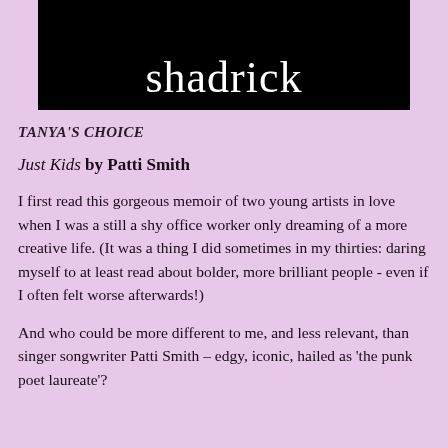[Figure (other): Black banner with white serif text reading 'shadrick' at bottom]
TANYA'S CHOICE
Just Kids by Patti Smith
I first read this gorgeous memoir of two young artists in love when I was a still a shy office worker only dreaming of a more creative life. (It was a thing I did sometimes in my thirties: daring myself to at least read about bolder, more brilliant people - even if I often felt worse afterwards!)
And who could be more different to me, and less relevant, than singer songwriter Patti Smith – edgy, iconic, hailed as 'the punk poet laureate'?